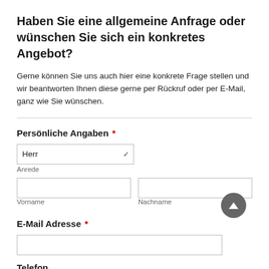Haben Sie eine allgemeine Anfrage oder wünschen Sie sich ein konkretes Angebot?
Gerne können Sie uns auch hier eine konkrete Frage stellen und wir beantworten Ihnen diese gerne per Rückruf oder per E-Mail, ganz wie Sie wünschen.
Persönliche Angaben *
E-Mail Adresse *
Telefon